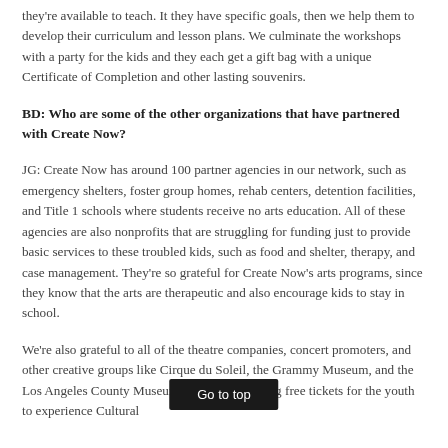they're available to teach. It they have specific goals, then we help them to develop their curriculum and lesson plans. We culminate the workshops with a party for the kids and they each get a gift bag with a unique Certificate of Completion and other lasting souvenirs.
BD: Who are some of the other organizations that have partnered with Create Now?
JG: Create Now has around 100 partner agencies in our network, such as emergency shelters, foster group homes, rehab centers, detention facilities, and Title 1 schools where students receive no arts education. All of these agencies are also nonprofits that are struggling for funding just to provide basic services to these troubled kids, such as food and shelter, therapy, and case management. They're so grateful for Create Now's arts programs, since they know that the arts are therapeutic and also encourage kids to stay in school.
We're also grateful to all of the theatre companies, concert promoters, and other creative groups like Cirque du Soleil, the Grammy Museum, and the Los An… Museum of Art for donating free tickets for the youth … experience Cultural